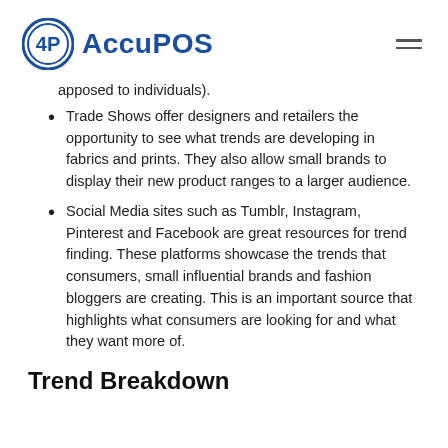AccuPOS
apposed to individuals).
Trade Shows offer designers and retailers the opportunity to see what trends are developing in fabrics and prints. They also allow small brands to display their new product ranges to a larger audience.
Social Media sites such as Tumblr, Instagram, Pinterest and Facebook are great resources for trend finding. These platforms showcase the trends that consumers, small influential brands and fashion bloggers are creating. This is an important source that highlights what consumers are looking for and what they want more of.
Trend Breakdown